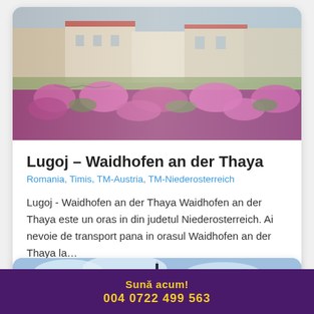[Figure (photo): Town square with flowers in foreground, European buildings and plaza in background]
Lugoj – Waidhofen an der Thaya
Romania, Timis, TM-Austria, TM-Niederosterreich
Lugoj - Waidhofen an der Thaya Waidhofen an der Thaya este un oras in din judetul Niederosterreich. Ai nevoie de transport pana in orasul Waidhofen an der Thaya la…
[Figure (photo): Church spire against blue sky, partial view]
Sună acum!
004 0722 499 563